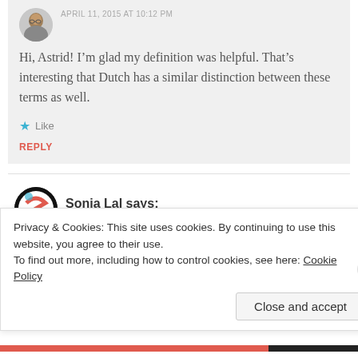APRIL 11, 2015 AT 10:12 PM
Hi, Astrid! I’m glad my definition was helpful. That’s interesting that Dutch has a similar distinction between these terms as well.
★ Like
REPLY
Sonia Lal says:
APRIL 11, 2015 AT 5:40 PM
Privacy & Cookies: This site uses cookies. By continuing to use this website, you agree to their use.
To find out more, including how to control cookies, see here: Cookie Policy
Close and accept